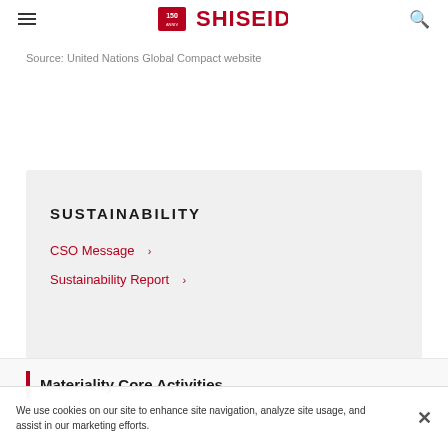Shiseido 150 Years Logo, Navigation menu, Search icon
Source: United Nations Global Compact website
SUSTAINABILITY
CSO Message ›
Sustainability Report ›
Materiality Core Activities
We use cookies on our site to enhance site navigation, analyze site usage, and assist in our marketing efforts.